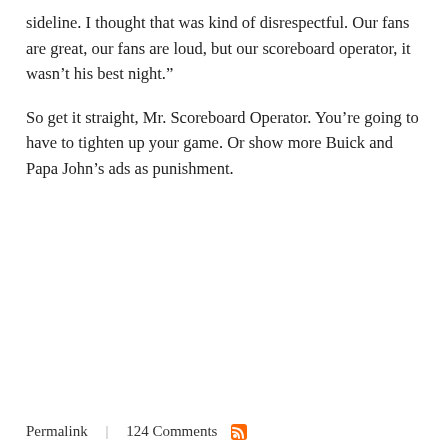sideline. I thought that was kind of disrespectful. Our fans are great, our fans are loud, but our scoreboard operator, it wasn’t his best night.”
So get it straight, Mr. Scoreboard Operator. You’re going to have to tighten up your game. Or show more Buick and Papa John’s ads as punishment.
Permalink  |  124 Comments